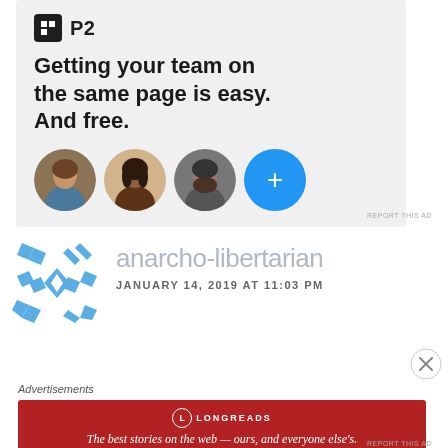[Figure (screenshot): P2 advertisement banner with logo, headline 'Getting your team on the same page is easy. And free.' and three avatar photos plus a blue plus button]
REPORT THIS AD
[Figure (logo): Snowflake-like blue geometric pattern logo for user 'anarcho-libertarian']
anarcho-libertarian
JANUARY 14, 2019 AT 11:03 PM
[Figure (other): Close/dismiss circle button (X)]
Advertisements
[Figure (screenshot): Longreads advertisement banner: red background with 'LONGREADS' logo and text 'The best stories on the web — ours, and everyone else's.']
REPORT THIS AD